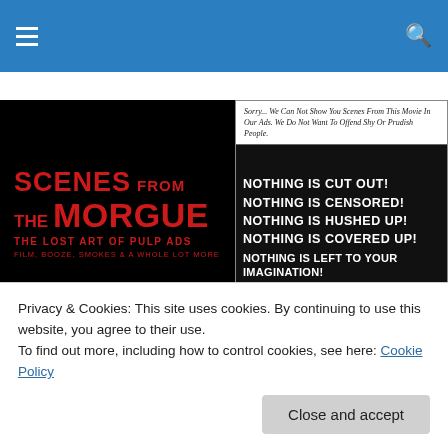Navigation bar with hamburger menu and search icon
[Figure (illustration): Blog banner: left side black background with red text 'SCENES FROM THE MORGUE – THE LOST ART OF PULP ADS – FILM, BOOZE, SMOKES & A WHOLE LOT MORE'. Right side vintage movie advertisement: 'Sorry…We Can Not Show You Scenes From This Movie In Our Ads. We Do Not Want To Offend Shy Or Prudish People. NOTHING IS CUT OUT! NOTHING IS CENSORED! NOTHING IS HUSHED UP! NOTHING IS COVERED UP! NOTHING IS LEFT TO YOUR IMAGINATION! THIS PROGRAM IS RECOMMENDED FOR ADULTS.']
TAGGED WITH SATANISM
The William Shatner Blogathon
Privacy & Cookies: This site uses cookies. By continuing to use this website, you agree to their use.
To find out more, including how to control cookies, see here: Cookie Policy
Close and accept